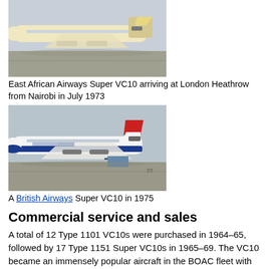[Figure (photo): East African Airways Super VC10 aircraft on tarmac at London Heathrow]
East African Airways Super VC10 arriving at London Heathrow from Nairobi in July 1973
[Figure (photo): British Airways Super VC10 aircraft on tarmac in 1975]
A British Airways Super VC10 in 1975
Commercial service and sales
A total of 12 Type 1101 VC10s were purchased in 1964–65, followed by 17 Type 1151 Super VC10s in 1965–69. The VC10 became an immensely popular aircraft in the BOAC fleet with both passengers and crew, being particularly praised for its comfort and low cabin-noise level. BOAC (and later British Airways) obtained higher load factors with the VC10 than with the 707 or any other aircraft in its fleet.[29][30] Operational experience soon resulted in